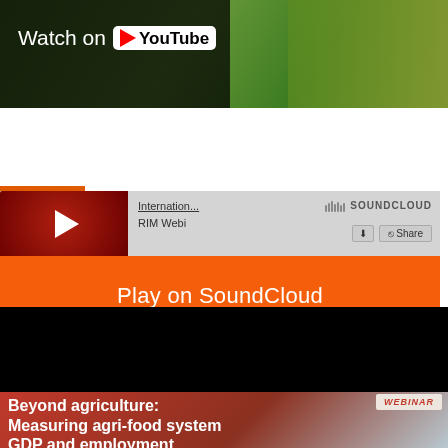[Figure (screenshot): YouTube thumbnail showing a field/agriculture background with dark overlay on left. 'Watch on YouTube' text with YouTube logo icon in white on dark panel.]
[Figure (screenshot): SoundCloud embed player with orange 'Play on SoundCloud' button, 'Listen in browser' overlay, SoundCloud logo, International... title, RIM Webi subtitle, Privacy policy link, and 268 plays count.]
[Figure (screenshot): Webinar card with black image area on top and red/brown gradient bottom section. WEBINAR tag label in top right. Title text: 'Beyond agriculture: Measuring agri-food system GDP and employment']